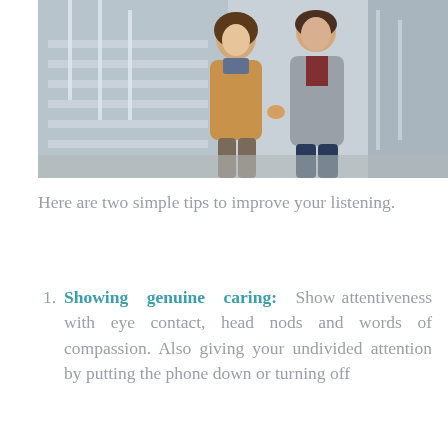[Figure (photo): A couple standing on outdoor stairs or bleachers, holding hands. The woman is leaning toward the man. Both are dressed in casual winter clothing.]
Here are two simple tips to improve your listening.
Showing genuine caring: Show attentiveness with eye contact, head nods and words of compassion. Also giving your undivided attention by putting the phone down or turning off